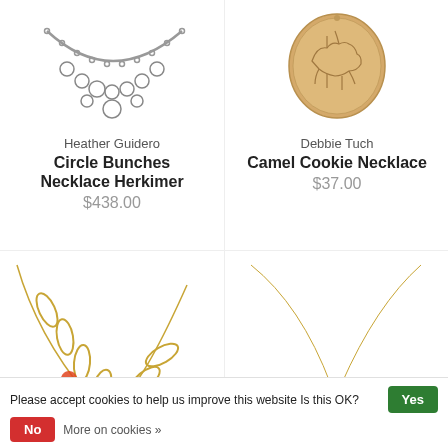[Figure (photo): Silver circle bunches necklace with chain and small circular pendants on left side]
[Figure (photo): Wooden camel cookie necklace pendant on right side]
Heather Guidero
Circle Bunches Necklace Herkimer
$438.00
Debbie Tuch
Camel Cookie Necklace
$37.00
[Figure (photo): Gold oval link chain necklace with orange/red resin accents on bottom row left]
[Figure (photo): Gold thin chain necklace with orange/red round bead pendant on bottom row right]
Please accept cookies to help us improve this website Is this OK?
Yes
No
More on cookies »